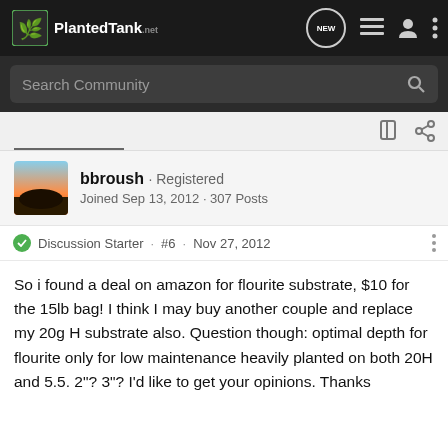PlantedTank · NEW
Search Community
bbroush · Registered
Joined Sep 13, 2012 · 307 Posts
Discussion Starter · #6 · Nov 27, 2012
So i found a deal on amazon for flourite substrate, $10 for the 15lb bag! I think I may buy another couple and replace my 20g H substrate also. Question though: optimal depth for flourite only for low maintenance heavily planted on both 20H and 5.5. 2"? 3"? I'd like to get your opinions. Thanks